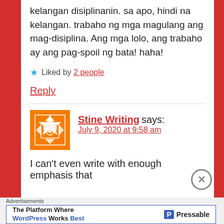kelangan disiplinanin. sa apo, hindi na kelangan. trabaho ng mga magulang ang mag-disiplina. Ang mga lolo, ang trabaho ay ang pag-spoil ng bata! haha!
Liked by 2 people
Reply
Stine Writing says:
July 9, 2020 at 9:58 am
I can't even write with enough emphasis that
Advertisements
The Platform Where WordPress Works Best | Pressable